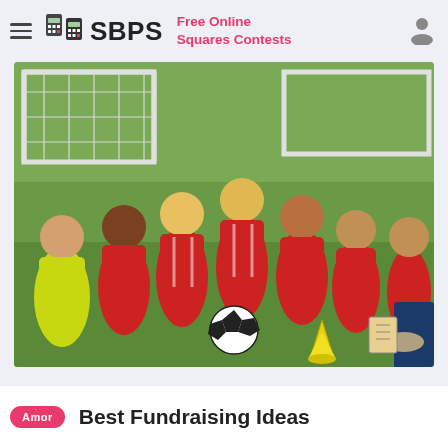SBPS — Free Online Squares Contests
[Figure (photo): Youth soccer team — seven boys in red-and-white striped jerseys and one in a yellow jersey sitting on grass in front of a soccer goal, with a soccer ball and training cones on the ground, and a coach visible on the right holding a clipboard.]
Best Fundraising Ideas